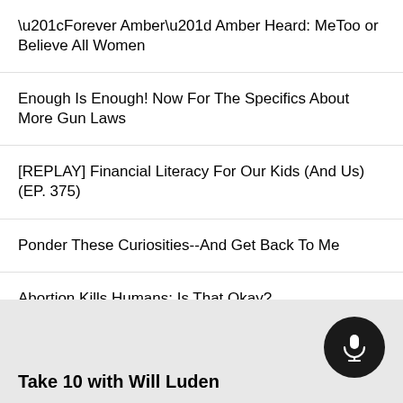“Forever Amber” Amber Heard: MeToo or Believe All Women
Enough Is Enough! Now For The Specifics About More Gun Laws
[REPLAY] Financial Literacy For Our Kids (And Us) (EP. 375)
Ponder These Curiosities--And Get Back To Me
Abortion Kills Humans: Is That Okay?
See all →
Take 10 with Will Luden
[Figure (illustration): Microphone icon button, circular black button with white microphone icon]